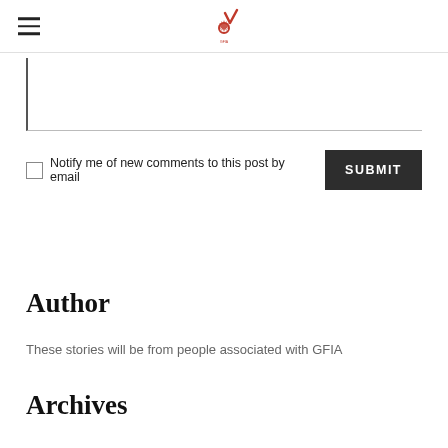[Logo: GFIA site header with hamburger menu]
[Figure (screenshot): Text area input box, partially visible, with left and bottom borders]
Notify me of new comments to this post by email
Author
These stories will be from people associated with GFIA
Archives